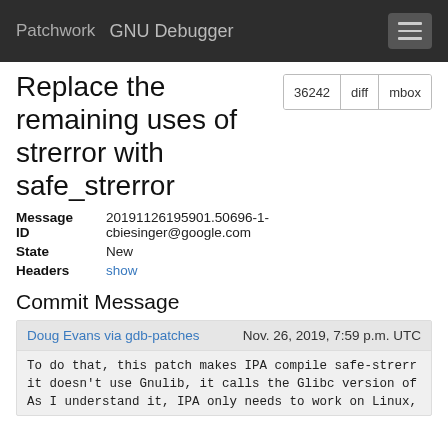Patchwork   GNU Debugger
Replace the remaining uses of strerror with safe_strerror
| Field | Value |
| --- | --- |
| Message ID | 20191126195901.50696-1-cbiesinger@google.com |
| State | New |
| Headers | show |
Commit Message
Doug Evans via gdb-patches   Nov. 26, 2019, 7:59 p.m. UTC
To do that, this patch makes IPA compile safe-strerr
it doesn't use Gnulib, it calls the Glibc version of
As I understand it, IPA only needs to work on Linux,